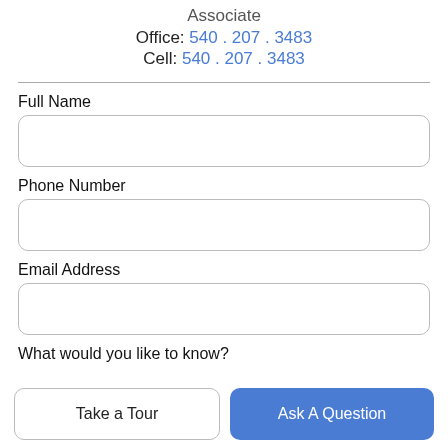Associate
Office: 540 . 207 . 3483
Cell: 540 . 207 . 3483
Full Name
Phone Number
Email Address
What would you like to know?
Take a Tour
Ask A Question